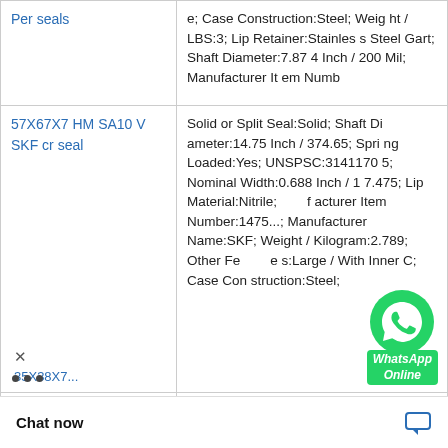| Product | Description |
| --- | --- |
| Per seals | e; Case Construction:Steel; Weight / LBS:3; Lip Retainer:Stainless Steel Gart; Shaft Diameter:7.874 Inch / 200 Mil; Manufacturer Item Numb |
| 57X67X7 HMSA10 V SKF cr seal | Solid or Split Seal:Solid; Shaft Diameter:14.75 Inch / 374.65; Spring Loaded:Yes; UNSPSC:31411705; Nominal Width:0.688 Inch / 17.475; Lip Material:Nitrile; acturer Item Number:147...; Manufacturer Name:SKF; Weight / Kilogram:2.789; Other Features:Large / With Inner C; Case Construction:Steel; |
| 35X38X7... | Long Description:2-3/8 Shaft Dia; Harmonized Tariff Code:4016.93.50.20; Generic Design Code: C_R_CRWH1; Manufacturer Item 3; Category:Oil Se 1411705; Weight / |
[Figure (screenshot): WhatsApp Online chat widget overlay with green WhatsApp icon and 'WhatsApp Online' label]
[Figure (screenshot): Chat now bar at the bottom of the page with chat bubble icon]